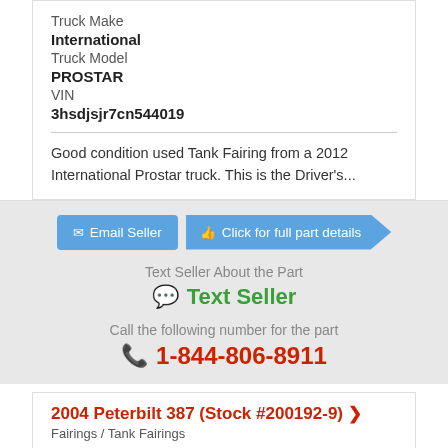Truck Make
International
Truck Model
PROSTAR
VIN
3hsdjsjr7cn544019
Good condition used Tank Fairing from a 2012 International Prostar truck. This is the Driver's...
Email Seller
Click for full part details
Text Seller About the Part
Text Seller
Call the following number for the part
1-844-806-8911
2004 Peterbilt 387 (Stock #200192-9) >
Fairings / Tank Fairings
$350.00